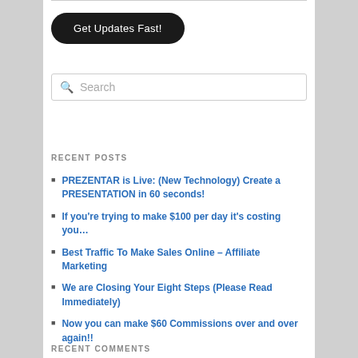[Figure (other): Black rounded button labeled 'Get Updates Fast!']
Search
RECENT POSTS
PREZENTAR is Live: (New Technology) Create a PRESENTATION in 60 seconds!
If you're trying to make $100 per day it's costing you…
Best Traffic To Make Sales Online – Affiliate Marketing
We are Closing Your Eight Steps (Please Read Immediately)
Now you can make $60 Commissions over and over again!!
RECENT COMMENTS